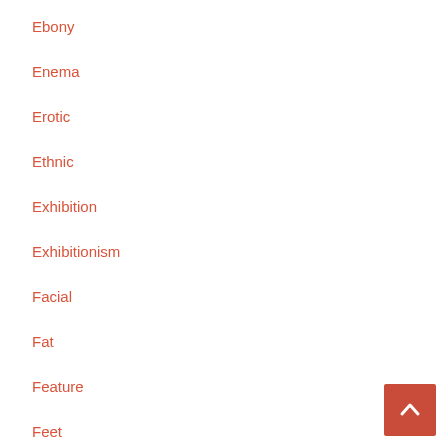Ebony
Enema
Erotic
Ethnic
Exhibition
Exhibitionism
Facial
Fat
Feature
Feet
Female domination
Femdom
Fetish